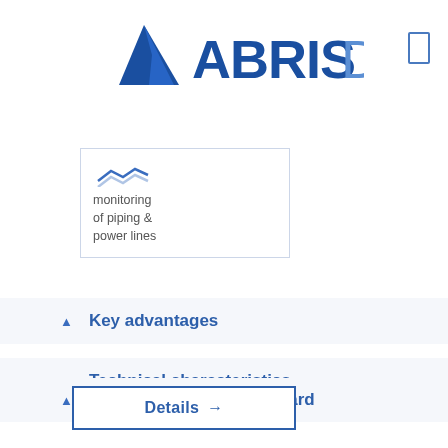[Figure (logo): ABRIS DG company logo with blue triangle/arrow and bold text ABRIS in blue and DG in lighter blue, plus a menu icon (rectangle outline) on the right]
[Figure (illustration): Card box with icon and text: monitoring of piping & power lines]
Key advantages
Technical characteristics
Payload applicable onboard
Details →